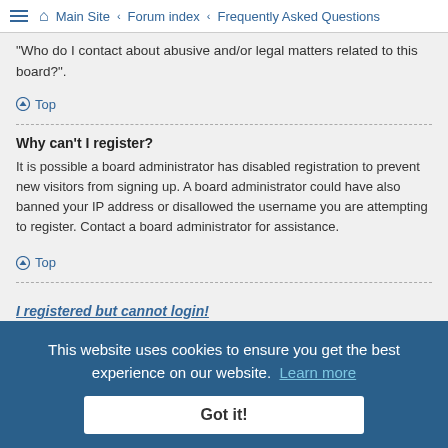Main Site ‹ Forum index ‹ Frequently Asked Questions
"Who do I contact about abusive and/or legal matters related to this board?".
Top
Why can't I register?
It is possible a board administrator has disabled registration to prevent new visitors from signing up. A board administrator could have also banned your IP address or disallowed the username you are attempting to register. Contact a board administrator for assistance.
Top
I registered but cannot login!
First, check your username and password. If they are correct, then one of two things may have happened. If COPPA support is enabled and you specified being under 13 years old during registration, you will have to follow the instructions you received. Some boards will also require new registrations to be activated, either by yourself or by an administrator before you can logon; this information was present during registration. If you were sent an email, follow the instructions. If you did not receive an email, you may have provided an incorrect email address or the email
This website uses cookies to ensure you get the best experience on our website. Learn more
Got it!